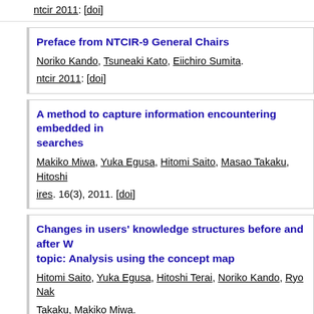ntcir 2011: [doi]
Preface from NTCIR-9 General Chairs
Noriko Kando, Tsuneaki Kato, Eiichiro Sumita.
ntcir 2011: [doi]
A method to capture information encountering embedded in searches
Makiko Miwa, Yuka Egusa, Hitomi Saito, Masao Takaku, Hitoshi... ires. 16(3), 2011. [doi]
Changes in users' knowledge structures before and after W... topic: Analysis using the concept map
Hitomi Saito, Yuka Egusa, Hitoshi Terai, Noriko Kando, Ryo Nak... Takaku, Makiko Miwa.
asist 2011: 1-4 [doi]
Using graded-relevance metrics for evaluating community Q...
Tetsuya Sakai, Daisuke Ishikawa, Noriko Kando, Yohei Seki, Ka...